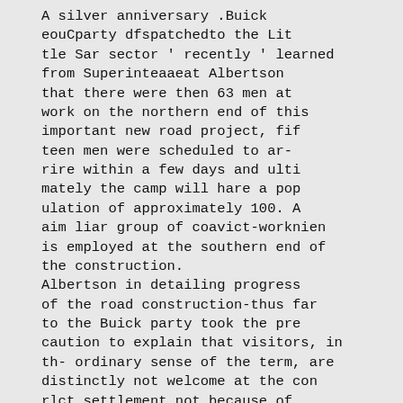A silver anniversary .Buick eouCparty dfspatchedto the Little Sar sector ' recently ' learned from Superinteaaeat Albertson that there were then 63 men at work on the northern end of this important new road project, fifteen men were scheduled to arrire within a few days and ultimately the camp will hare a population of approximately 100. A aim liar group of coavict-worknien is employed at the southern end of the construction.
Albertson in detailing progress of the road construction-thus far to the Buick party took the precaution to explain that visitors, in th- ordinary sense of the term, are distinctly not welcome at the con rlct settlement not because of any danger, but. in the Interest of avoiding embarassment to the workers and consequent breaking